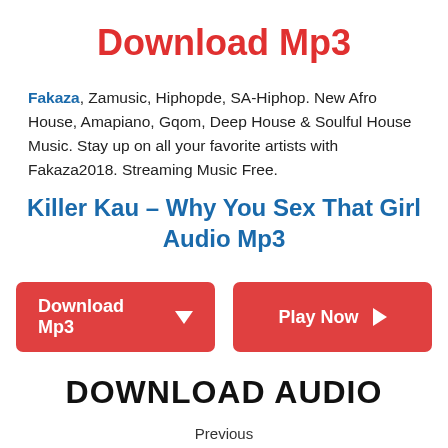Download Mp3
Fakaza, Zamusic, Hiphopde, SA-Hiphop. New Afro House, Amapiano, Gqom, Deep House & Soulful House Music. Stay up on all your favorite artists with Fakaza2018. Streaming Music Free.
Killer Kau – Why You Sex That Girl Audio Mp3
[Figure (other): Two red buttons: 'Download Mp3' with down arrow icon and 'Play Now' with play arrow icon]
DOWNLOAD AUDIO
Previous